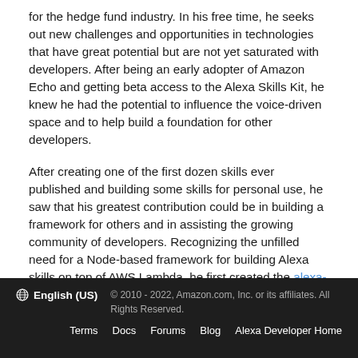for the hedge fund industry. In his free time, he seeks out new challenges and opportunities in technologies that have great potential but are not yet saturated with developers. After being an early adopter of Amazon Echo and getting beta access to the Alexa Skills Kit, he knew he had the potential to influence the voice-driven space and to help build a foundation for other developers.
After creating one of the first dozen skills ever published and building some skills for personal use, he saw that his greatest contribution could be in building a framework for others and in assisting the growing community of developers. Recognizing the unfilled need for a Node-based framework for building Alexa skills on top of AWS Lambda, he first created the alexa-app framework, and then the alexa-app-server container for hosting javascript-based skills. These projects and others they have spawned continue to be popular and are maintained by the open source community.
English (US)  © 2010 - 2022, Amazon.com, Inc. or its affiliates. All Rights Reserved.  Terms  Docs  Forums  Blog  Alexa Developer Home